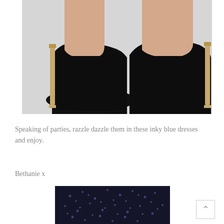[Figure (photo): Close-up photo of two black velvet/pony hair pointed-toe high heel pumps with gold metallic stiletto heels, on a light grey background. The shoes are shown from the side/back angle revealing the heels clearly.]
Speaking of parties, razzle dazzle them in these inky blue dresses and enjoy.
Bethanie x
[Figure (photo): Close-up photo of a dark navy blue sequined/sparkly dress, showing the top portion of the garment with sequin embellishment.]